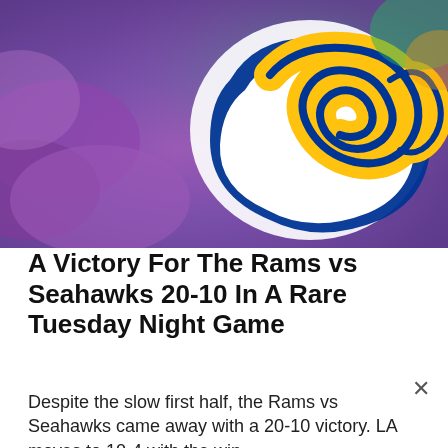[Figure (photo): LA Rams logo — golden ram horns on a white/blue helmet background with purple/teal colored background elements]
A Victory For The Rams vs Seahawks 20-10 In A Rare Tuesday Night Game
Despite the slow first half, the Rams vs Seahawks came away with a 20-10 victory. LA moves to 10-4 with the win